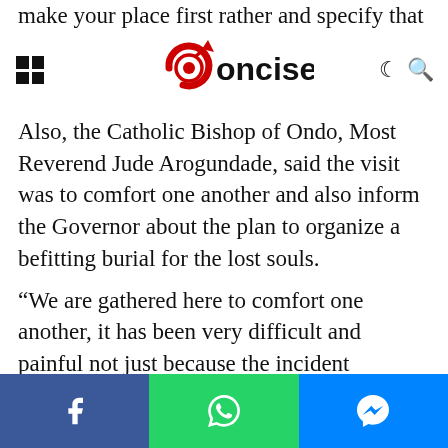Concise
make your place first rather and specify that you are not for noise and that you are for your people and ... bishop said.
Also, the Catholic Bishop of Ondo, Most Reverend Jude Arogundade, said the visit was to comfort one another and also inform the Governor about the plan to organize a befitting burial for the lost souls.
“We are gathered here to comfort one another, it has been very difficult and painful not just because the incident happened in Owo but in Ondo Diocese. We are preparing for the funeral of the people who died at the incident “You have always taken the Catholic Church so
Social share bar: Facebook, WhatsApp, Messenger